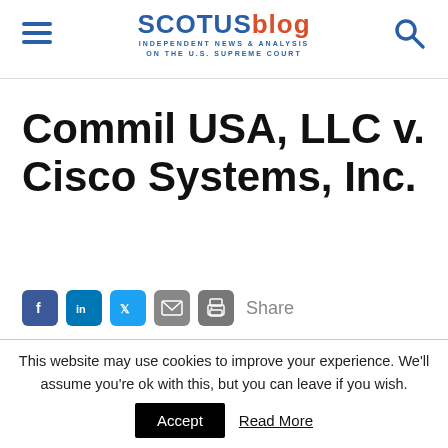SCOTUSblog — INDEPENDENT NEWS & ANALYSIS ON THE U.S. SUPREME COURT
Commil USA, LLC v. Cisco Systems, Inc.
Share
Docket No.  13-896
This website may use cookies to improve your experience. We'll assume you're ok with this, but you can leave if you wish.  Accept  Read More